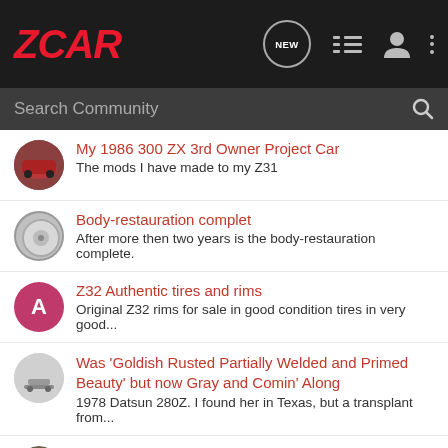[Figure (screenshot): ZCAR community forum website screenshot with navigation bar, search bar, and forum post listings]
ZCAR
Search Community
My 1986 300 ZX 3rd Owner Project Car — The mods I have made to my Z31
Body-restauration complet — After more then two years is the body-restauration complete.
Z32 Authentic tires and rims — Original Z32 rims for sale in good condition tires in very good...
Was 'Goldish Rusted Partially Welded and Primed Beauty' but now Gray and Comin' Along — 1978 Datsun 280Z. I found her in Texas, but a transplant from...
280ZX Turbo — 1981 Datsun 280ZX Turbo (Black)